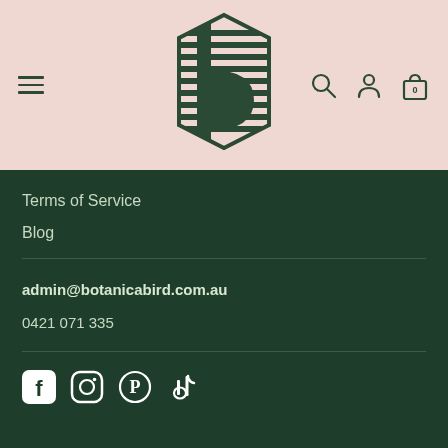[Figure (logo): Botanica Bird logo - stylized letter b with horizontal stripes in dark green hexagonal shape]
Terms of Service
Blog
admin@botanicabird.com.au
0421 071 335
[Figure (infographic): Social media icons: Facebook, Instagram, Pinterest, TikTok in white]